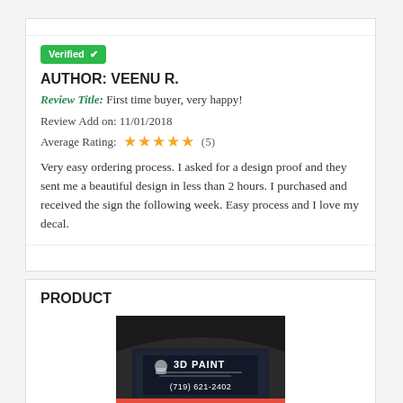[Figure (screenshot): Green 'Verified' badge with checkmark icon]
AUTHOR: VEENU R.
Review Title: First time buyer, very happy!
Review Add on: 11/01/2018
Average Rating: ★★★★★ (5)
Very easy ordering process. I asked for a design proof and they sent me a beautiful design in less than 2 hours. I purchased and received the sign the following week. Easy process and I love my decal.
PRODUCT
[Figure (photo): Photo of a vehicle rear window with '3D PAINT' decal showing phone number (719) 621-2402]